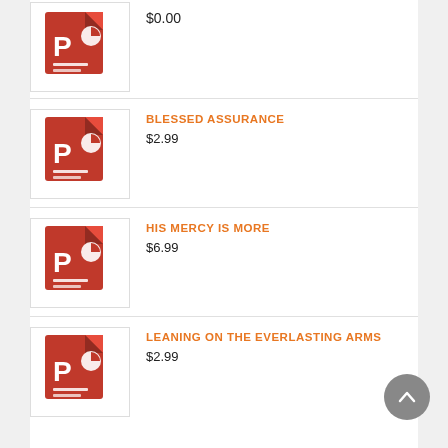$0.00
BLESSED ASSURANCE
$2.99
HIS MERCY IS MORE
$6.99
LEANING ON THE EVERLASTING ARMS
$2.99